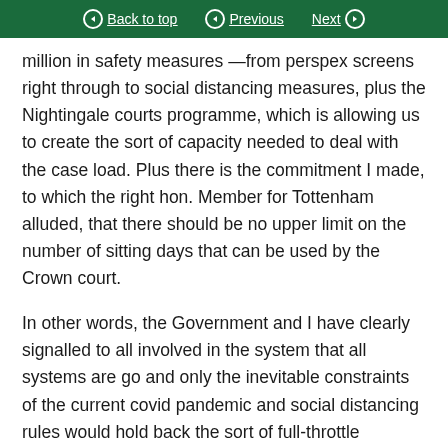Back to top   Previous   Next
million in safety measures —from perspex screens right through to social distancing measures, plus the Nightingale courts programme, which is allowing us to create the sort of capacity needed to deal with the case load. Plus there is the commitment I made, to which the right hon. Member for Tottenham alluded, that there should be no upper limit on the number of sitting days that can be used by the Crown court.
In other words, the Government and I have clearly signalled to all involved in the system that all systems are go and only the inevitable constraints of the current covid pandemic and social distancing rules would hold back the sort of full-throttle progress that I would love to see. If we continue with